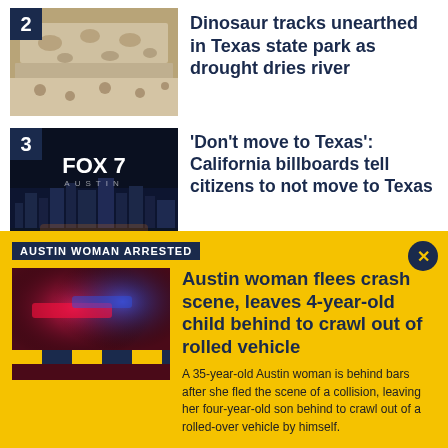2 - Dinosaur tracks unearthed in Texas state park as drought dries river
3 - 'Don't move to Texas': California billboards tell citizens to not move to Texas
4 - Austin 1-year-old girl found safe; biological mother in custody
AUSTIN WOMAN ARRESTED
Austin woman flees crash scene, leaves 4-year-old child behind to crawl out of rolled vehicle
A 35-year-old Austin woman is behind bars after she fled the scene of a collision, leaving her four-year-old son behind to crawl out of a rolled-over vehicle by himself.